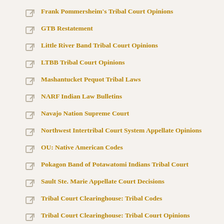Frank Pommersheim's Tribal Court Opinions
GTB Restatement
Little River Band Tribal Court Opinions
LTBB Tribal Court Opinions
Mashantucket Pequot Tribal Laws
NARF Indian Law Bulletins
Navajo Nation Supreme Court
Northwest Intertribal Court System Appellate Opinions
OU: Native American Codes
Pokagon Band of Potawatomi Indians Tribal Court
Sault Ste. Marie Appellate Court Decisions
Tribal Court Clearinghouse: Tribal Codes
Tribal Court Clearinghouse: Tribal Court Opinions